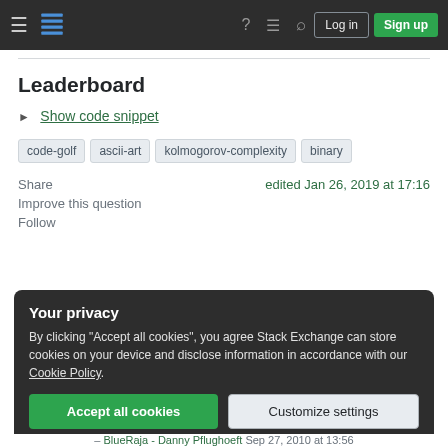Stack Exchange navigation bar with hamburger menu, logo, help, chat, search, Log in, Sign up
Leaderboard
▶ Show code snippet
code-golf  ascii-art  kolmogorov-complexity  binary
Share
Improve this question
Follow
edited Jan 26, 2019 at 17:16
Your privacy
By clicking "Accept all cookies", you agree Stack Exchange can store cookies on your device and disclose information in accordance with our Cookie Policy.
Accept all cookies   Customize settings
– BlueRaja - Danny Pflughoeft Sep 27, 2010 at 13:56